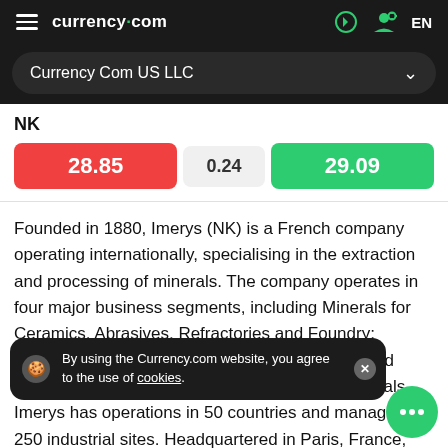currency.com  EN
Currency Com US LLC
NK
| Sell | Spread | Buy |
| --- | --- | --- |
| 28.85 | 0.24 | 29.09 |
Founded in 1880, Imerys (NK) is a French company operating internationally, specialising in the extraction and processing of minerals. The company operates in four major business segments, including Minerals for Ceramics, Abrasives, Refractories and Foundry; Materials and Monolithics; Pigments for Paper and Packaging; and Performance and Filtration Minerals. Imerys has operations in 50 countries and manages 250 industrial sites. Headquartered in Paris, France, the company employing more than 16,000 people. Using innovative research and specialties the global leader in mineral-based specialties Imerys transforms various minerals into high
By using the Currency.com website, you agree to the use of cookies.